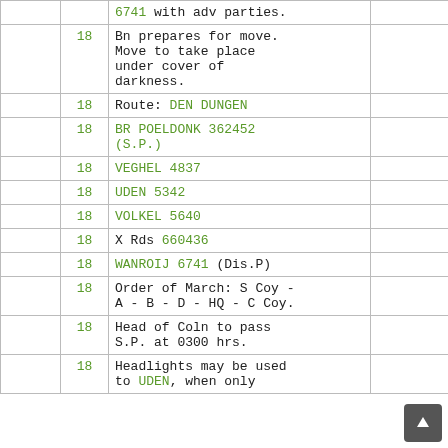|  |  |  |  |
| --- | --- | --- | --- |
|  | 18 | 6741 with adv parties. |  |
|  | 18 | Bn prepares for move. Move to take place under cover of darkness. |  |
|  | 18 | Route: DEN DUNGEN |  |
|  | 18 | BR POELDONK 362452 (S.P.) |  |
|  | 18 | VEGHEL 4837 |  |
|  | 18 | UDEN 5342 |  |
|  | 18 | VOLKEL 5640 |  |
|  | 18 | X Rds 660436 |  |
|  | 18 | WANROIJ 6741 (Dis.P) |  |
|  | 18 | Order of March: S Coy - A - B - D - HQ - C Coy. |  |
|  | 18 | Head of Coln to pass S.P. at 0300 hrs. |  |
|  | 18 | Headlights may be used to UDEN, when only |  |